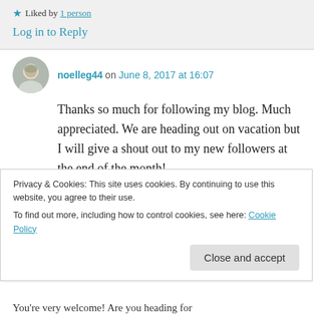★ Liked by 1 person
Log in to Reply
noelleg44 on June 8, 2017 at 16:07
Thanks so much for following my blog. Much appreciated. We are heading out on vacation but I will give a shout out to my new followers at the end of the month!
★ Liked by 1 person
Privacy & Cookies: This site uses cookies. By continuing to use this website, you agree to their use.
To find out more, including how to control cookies, see here: Cookie Policy
Close and accept
You're very welcome! Are you heading for